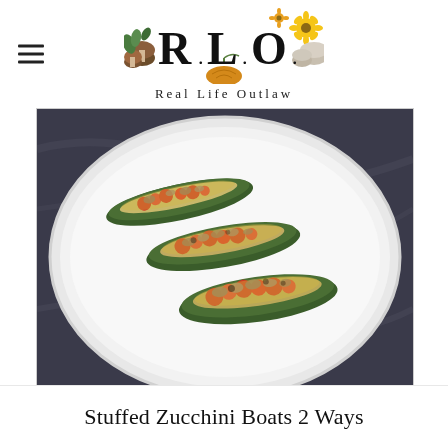[Figure (logo): R.L.O. Real Life Outlaw logo with mushrooms, flowers, and sunflower decorations around stylized letters]
[Figure (photo): Four stuffed zucchini boats filled with tomatoes, mushrooms, and cheese, arranged on a white plate on a dark marble surface]
Stuffed Zucchini Boats 2 Ways